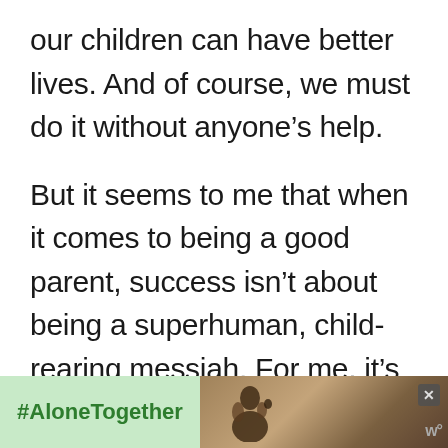our children can have better lives. And of course, we must do it without anyone's help.

But it seems to me that when it comes to being a good parent, success isn't about being a superhuman, child-rearing messiah. For me, it's about being willing to enter into a process of
[Figure (screenshot): Advertisement banner at bottom of page showing '#AloneTogether' text on green background with a photo of a man and child, a close button, and a logo]